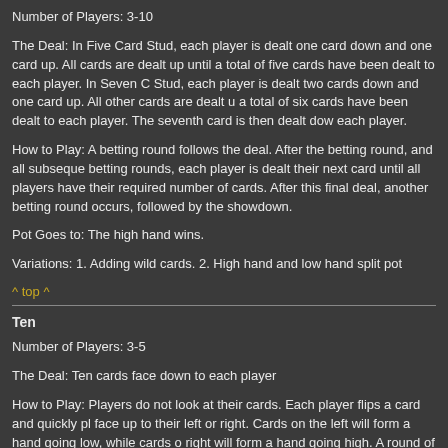Number of Players: 3-10
The Deal: In Five Card Stud, each player is dealt one card down and one card up. All cards are dealt up until a total of five cards have been dealt to each player. In Seven Card Stud, each player is dealt two cards down and one card up. All other cards are dealt up until a total of six cards have been dealt to each player. The seventh card is then dealt down to each player.
How to Play: A betting round follows the deal. After the betting round, and all subsequent betting rounds, each player is dealt their next card until all players have their required number of cards. After this final deal, another betting round occurs, followed by the showdown.
Pot Goes to: The high hand wins.
Variations: 1. Adding wild cards. 2. High hand and low hand split pot
^ top ^
Ten
Number of Players: 3-5
The Deal: Ten cards face down to each player
How to Play: Players do not look at their cards. Each player flips a card and quickly places face up to their left or right. Cards on the left will form a hand going low, while cards on the right will form a hand going high. A round of betting follows, and this is repeated until all cards are face up. The high and low hands can only have five cards each. The last card to be flipped is the showdown.
Pot Goes to: High and low hands split
Variations: Add wild cards.
^ top ^